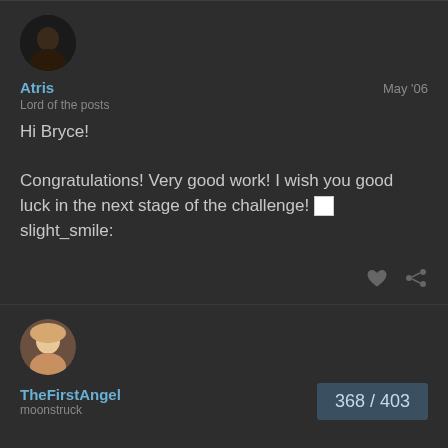[Figure (photo): Dark circular avatar photo of user Atris showing a person's face in dim lighting]
Atris
May '06
Lord of the posts
Hi Bryce!

Congratulations! Very good work! I wish you good luck in the next stage of the challenge! :slight_smile:
[Figure (photo): Circular avatar photo of user TheFirstAngel showing a blonde woman]
TheFirstAngel
moonstruck
368 / 403